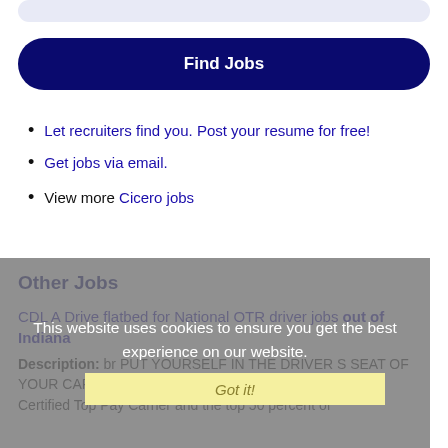[Figure (other): Partial top bar element (light blue/purple rounded bar at top of page)]
Find Jobs
Let recruiters find you. Post your resume for free!
Get jobs via email.
View more Cicero jobs
This website uses cookies to ensure you get the best experience on our website.
Learn more
Other Jobs
Got it!
CDL A Drive flatbed for National OTR driver jobs out of Indiana
Description: br PUT YOURSELF IN THE DRIVER S SEAT OF YOUR CAREER EARN .65 - .70 per practical mileWe're a Certified Top Pay Carrier and the top 50 percent of